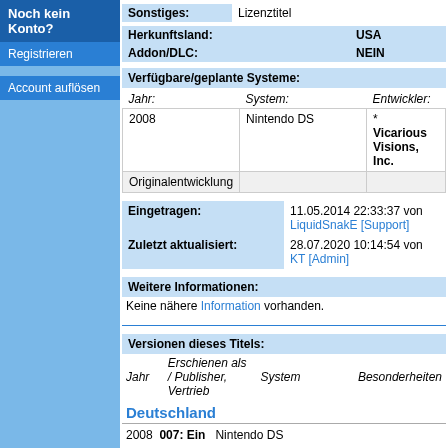Noch kein Konto?
Registrieren
Account auflösen
Sonstiges: Lizenztitel
|  |  |
| --- | --- |
| Herkunftsland: | USA |
| Addon/DLC: | NEIN |
Verfügbare/geplante Systeme:
| Jahr: | System: | Entwickler: |
| --- | --- | --- |
| 2008 | Nintendo DS | *
Vicarious Visions, Inc. |
| Originalentwicklung |  |  |
| Eingetragen: | 11.05.2014 22:33:37 von LiquidSnakE [Support] |
| --- | --- |
| Zuletzt aktualisiert: | 28.07.2020 10:14:54 von KT [Admin] |
Weitere Informationen:
Keine nähere Information vorhanden.
Versionen dieses Titels:
| Jahr | Erschienen als / Publisher, Vertrieb | System | Besonderheiten |
| --- | --- | --- | --- |
Deutschland
2008   007: Ein   Nintendo DS